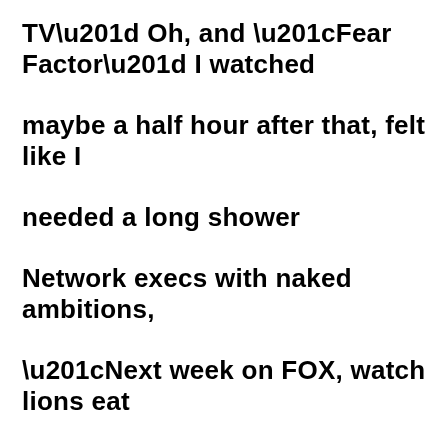TV” Oh, and “Fear Factor” I watched maybe a half hour after that, felt like I needed a long shower Network execs with naked ambitions, “Next week on FOX, watch lions eat Christians”.  Leech-covered grub-eatin’ fools on “Survivor” I love shows with or without a plot I’ll